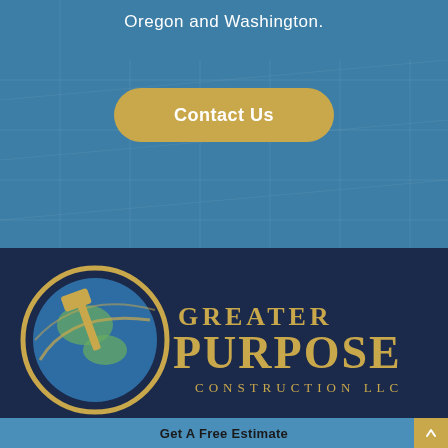Oregon and Washington.
[Figure (other): Contact Us button with gold/yellow rounded rectangle style on blue construction background]
[Figure (logo): Greater Purpose Construction LLC logo — gold globe with hammer icon and gold serif text on dark navy background]
Get A Free Estimate